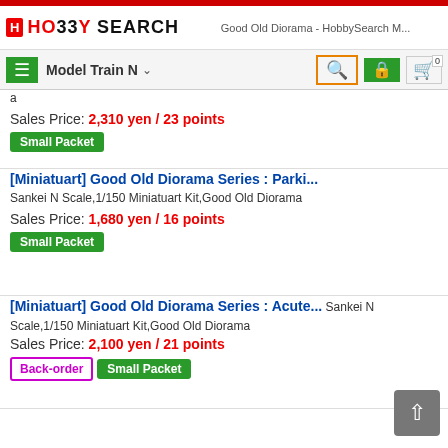HobbySearch - Good Old Diorama - HobbySearch M...
Sales Price: 2,310 yen / 23 points
Small Packet
[Miniatuart] Good Old Diorama Series : Parki... Sankei N Scale,1/150 Miniatuart Kit,Good Old Diorama
Sales Price: 1,680 yen / 16 points
Small Packet
[Miniatuart] Good Old Diorama Series : Acute... Sankei N Scale,1/150 Miniatuart Kit,Good Old Diorama
Sales Price: 2,100 yen / 21 points
Back-order  Small Packet
[Miniatuart] Good Old Diorama Series : Snack... Sankei N Scale,1/150 Miniatuart Kit,Good Old Diorama
Sales Price: 1,890 yen / 18 points
Small Packet
[Miniatuart] Good Old Diorama Series : Rest... Sankei N Scale,1/150 Miniatuart Kit,Good Old Dio...